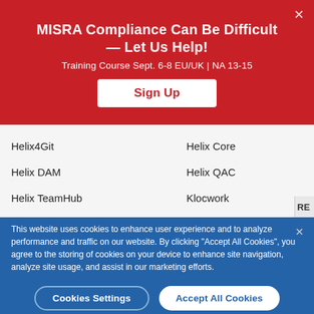MISRA Compliance Can Be Difficult — Let Us Help!
Training Course Sept. 6-8 EU/UK | NA 13-15
Sign Up
Helix4Git
Helix Core
Helix DAM
Helix QAC
Helix TeamHub
Klocwork
This website uses cookies to enhance user experience and to analyze performance and traffic on our website. By clicking “Accept All Cookies”, you agree to the storing of cookies on your device to enhance site navigation, analyze site usage, and assist in our marketing efforts.
Cookies Settings
Accept All Cookies